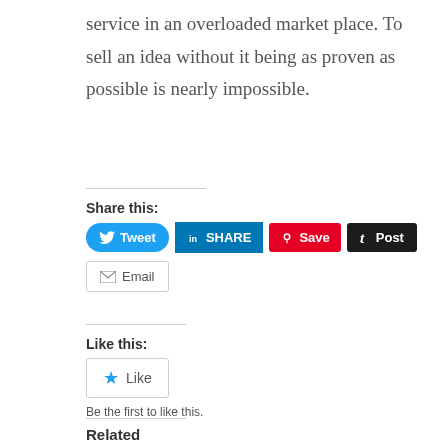service in an overloaded market place. To sell an idea without it being as proven as possible is nearly impossible.
Share this:
[Figure (screenshot): Social sharing buttons: Tweet (Twitter/blue), SHARE (LinkedIn/blue), Save (Pinterest/red), Post (Tumblr/dark), Email (grey outline)]
Like this:
[Figure (screenshot): Like button (star icon, blue) with text 'Be the first to like this.']
Related
Writers, Your Ideas Are Your Products
October 2, 2014
In "Creativity"
What Does "Know Your Audience" Even Mean?
July 24, 2017
In "Blazing Center"